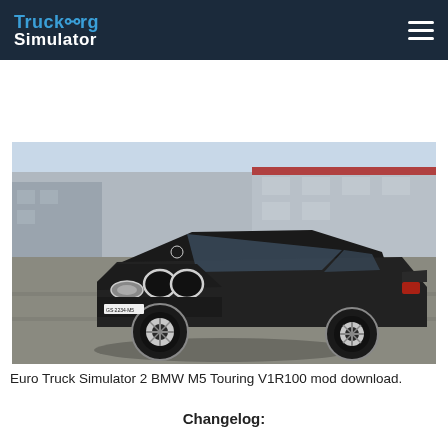TruckOrg Simulator
[Figure (photo): A black BMW M5 Touring estate car driving on a road with industrial buildings in the background, rendered in Euro Truck Simulator 2 game engine.]
Euro Truck Simulator 2 BMW M5 Touring V1R100 mod download.
Changelog: